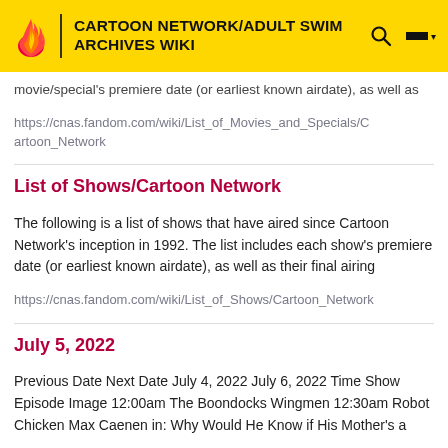CARTOON NETWORK/ADULT SWIM ARCHIVES WIKI
movie/special's premiere date (or earliest known airdate), as well as
https://cnas.fandom.com/wiki/List_of_Movies_and_Specials/Cartoon_Network
List of Shows/Cartoon Network
The following is a list of shows that have aired since Cartoon Network's inception in 1992. The list includes each show's premiere date (or earliest known airdate), as well as their final airing
https://cnas.fandom.com/wiki/List_of_Shows/Cartoon_Network
July 5, 2022
Previous Date Next Date July 4, 2022 July 6, 2022 Time Show Episode Image 12:00am The Boondocks Wingmen 12:30am Robot Chicken Max Caenen in: Why Would He Know if His Mother's a
https://cnas.fandom.com/wiki/July_5,_2022